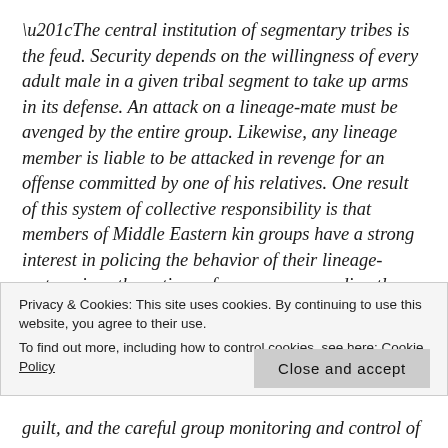“The central institution of segmentary tribes is the feud. Security depends on the willingness of every adult male in a given tribal segment to take up arms in its defense. An attack on a lineage-mate must be avenged by the entire group. Likewise, any lineage member is liable to be attacked in revenge for an offense committed by one of his relatives. One result of this system of collective responsibility is that members of Middle Eastern kin groups have a strong interest in policing the behavior of their lineage-mates, since the actions of any one person directly affect the reputation and safety of the entire
Privacy & Cookies: This site uses cookies. By continuing to use this website, you agree to their use.
To find out more, including how to control cookies, see here: Cookie Policy
Close and accept
guilt, and the careful group monitoring and control of